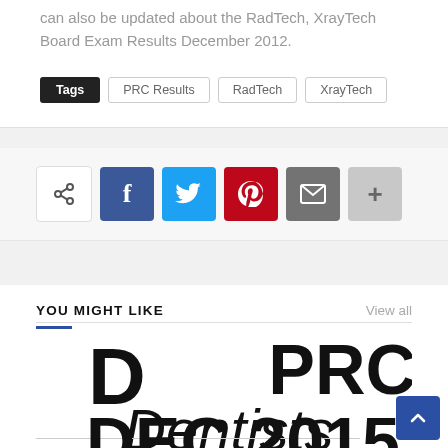can also be updated about the RadTech, XrayTech Board Exam Results December 2012.
Tags  PRC Results  RadTech  XrayTech
[Figure (infographic): Social share buttons: share (native), Facebook (blue), Twitter (cyan), Pinterest (red), Email (grey), More (light grey)]
YOU MIGHT LIKE
View all
[Figure (screenshot): Preview card showing large bold text: D, PRC, Dentists (italic), DEC 2015 partially visible — a linked article thumbnail]